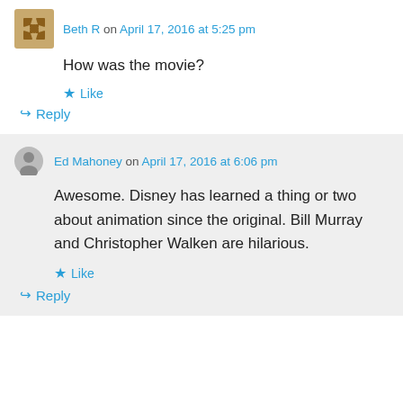Beth R on April 17, 2016 at 5:25 pm
How was the movie?
Like
Reply
Ed Mahoney on April 17, 2016 at 6:06 pm
Awesome. Disney has learned a thing or two about animation since the original. Bill Murray and Christopher Walken are hilarious.
Like
Reply